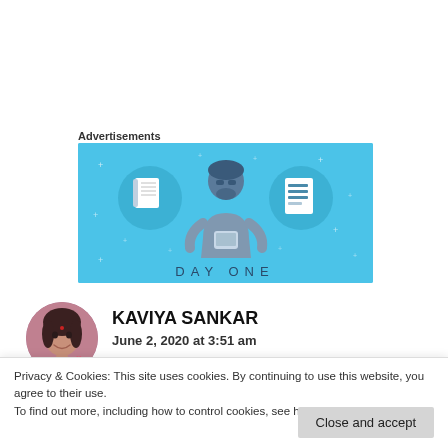Advertisements
[Figure (illustration): Day One app advertisement banner — light blue background with illustrated character holding a phone, flanked by two circular icons showing a notebook and a lined document. Text reads 'DAY ONE' at the bottom.]
[Figure (photo): Circular profile photo of Kaviya Sankar — a young woman smiling.]
KAVIYA SANKAR
June 2, 2020 at 3:51 am
Privacy & Cookies: This site uses cookies. By continuing to use this website, you agree to their use.
To find out more, including how to control cookies, see here: Cookie Policy
Close and accept